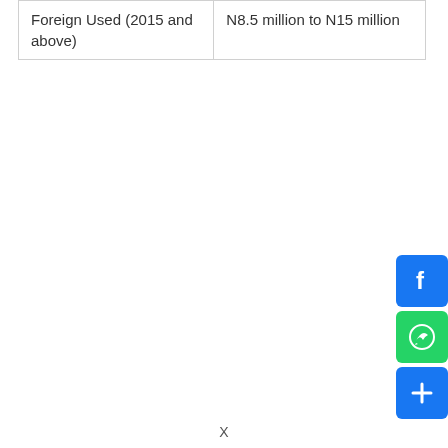| Foreign Used (2015 and above) | N8.5 million to N15 million |
[Figure (other): Social media share buttons: Facebook (blue), WhatsApp (green), and a blue share/more button with a plus icon]
X